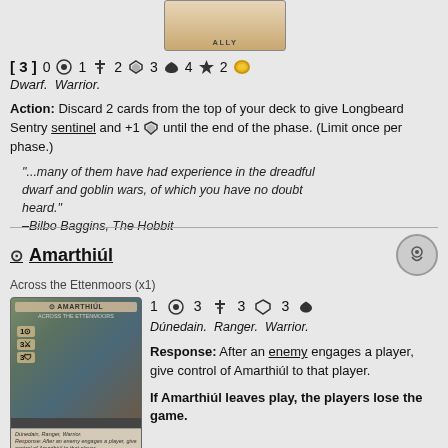[Figure (illustration): Top portion of a card showing ALLY label with decorative border]
[ 3 ]  0  1  2  3  4★  2
Dwarf.  Warrior.
Action: Discard 2 cards from the top of your deck to give Longbeard Sentry sentinel and +1 until the end of the phase. (Limit once per phase.)
"...many of them have had experience in the dreadful dwarf and goblin wars, of which you have no doubt heard."
–Bilbo Baggins, The Hobbit
[Figure (illustration): Card image for Amarthiúl showing a ranger/warrior character]
Amarthiúl
Across the Ettenmoors (x1)
1  3  3  3
Dúnedain.  Ranger.  Warrior.
Response: After an enemy engages a player, give control of Amarthiúl to that player.

If Amarthiúl leaves play, the players lose the game.